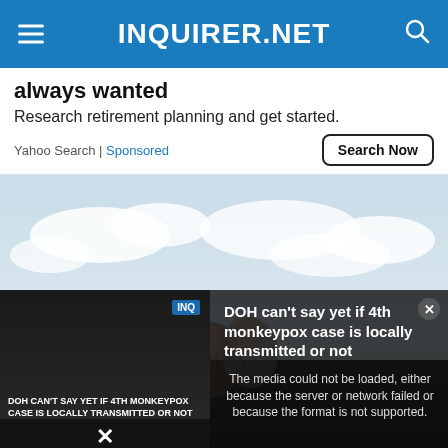INQUIRER.NET
always wanted
Research retirement planning and get started.
Yahoo Search | Sponsored
[Figure (photo): Elderly couple outdoors with cloudy sky background]
The media could not be loaded, either because the server or network failed or because the format is not supported.
DOH can't say yet if 4th monkeypox case is locally transmitted or not
DOH CAN'T SAY YET IF 4TH MONKEYPOX CASE IS LOCALLY TRANSMITTED OR NOT